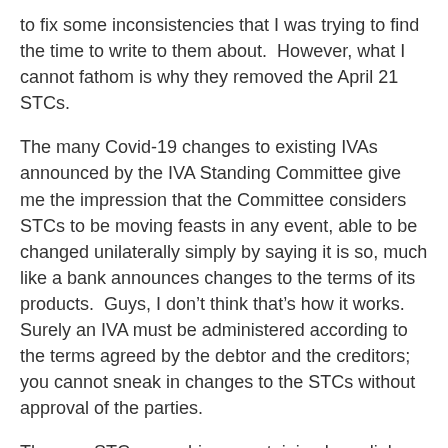to fix some inconsistencies that I was trying to find the time to write to them about.  However, what I cannot fathom is why they removed the April 21 STCs.
The many Covid-19 changes to existing IVAs announced by the IVA Standing Committee give me the impression that the Committee considers STCs to be moving feasts in any event, able to be changed unilaterally simply by saying it is so, much like a bank announces changes to the terms of its products.  Guys, I don't think that's how it works.  Surely an IVA must be administered according to the terms agreed by the debtor and the creditors; you cannot sneak in changes to the STCs without approval of the parties.
The new STCs are whizzy, containing hyperlinks that take you to other relevant clauses.  Therefore, I wonder what firms did when they issued IVA Proposals in May, June and July.  Did they reproduce the April 21 STCs on their